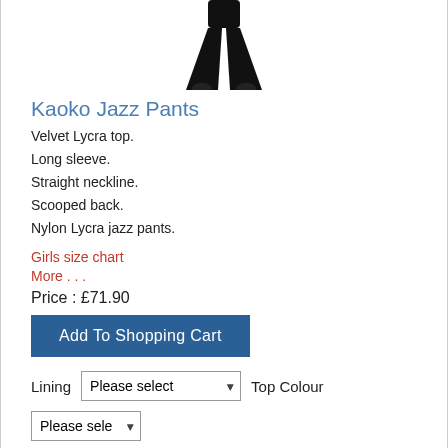[Figure (photo): Product photo of black jazz pants on a model, showing wide-leg silhouette]
Kaoko Jazz Pants
Velvet Lycra top.
Long sleeve.
Straight neckline.
Scooped back.
Nylon Lycra jazz pants.
Girls size chart
More . . .
Price : £71.90
Add To Shopping Cart
Lining  [Please select ▾]  Top Colour  [Please select ▾]